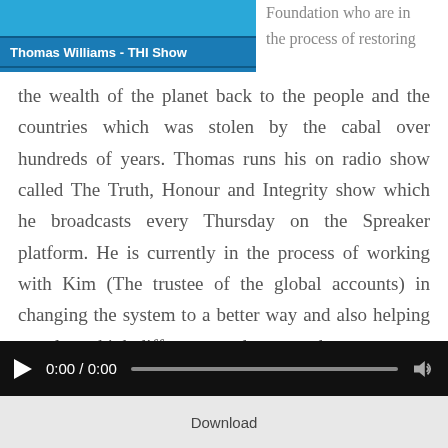[Figure (screenshot): Blue banner image area at top left with Thomas Williams THI Show label bar]
Foundation who are in the process of restoring the wealth of the planet back to the people and the countries which was stolen by the cabal over hundreds of years. Thomas runs his on radio show called The Truth, Honour and Integrity show which he broadcasts every Thursday on the Spreaker platform. He is currently in the process of working with Kim (The trustee of the global accounts) in changing the system to a better way and also helping people to think different, need not greed.
[Figure (screenshot): Audio player widget with play button, time display 0:00 / 0:00, progress bar, and volume icon on black background, with Download button below]